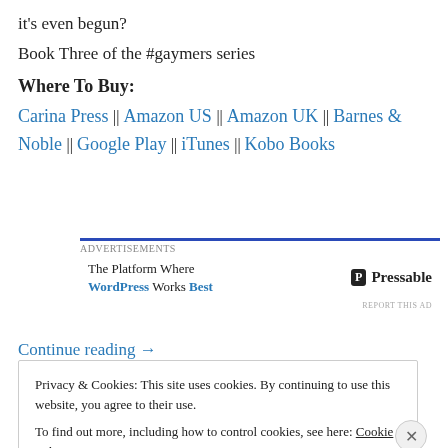it's even begun?
Book Three of the #gaymers series
Where To Buy:
Carina Press || Amazon US || Amazon UK || Barnes & Noble || Google Play || iTunes || Kobo Books
[Figure (other): Advertisement banner for Pressable: 'The Platform Where WordPress Works Best']
Continue reading →
Privacy & Cookies: This site uses cookies. By continuing to use this website, you agree to their use. To find out more, including how to control cookies, see here: Cookie Policy